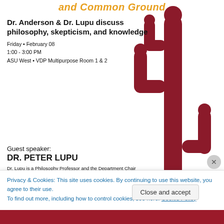and Common Ground
Dr. Anderson & Dr. Lupu discuss philosophy, skepticism, and knowledge
Friday • February 08
1:00 - 3:00 PM
ASU West • VDP Multipurpose Room 1 & 2
[Figure (illustration): Silhouette of a saguaro cactus in dark red/maroon color on white background]
Guest speaker:
DR. PETER LUPU
Dr. Lupu is a Philosophy Professor and the Department Chair in the Philosophy & Religious Studies Department at Glendale Community College
Privacy & Cookies: This site uses cookies. By continuing to use this website, you agree to their use.
To find out more, including how to control cookies, see here: Cookie Policy
Close and accept